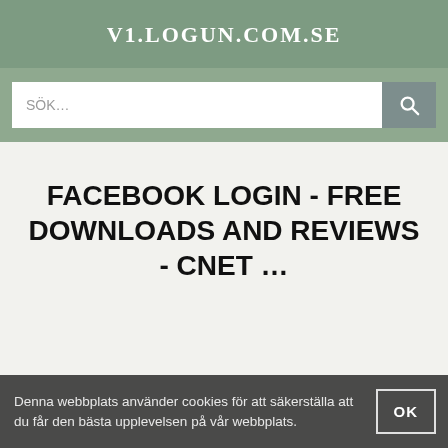V1.LOGUN.COM.SE
SÖK…
FACEBOOK LOGIN - FREE DOWNLOADS AND REVIEWS - CNET …
Denna webbplats använder cookies för att säkerställa att du får den bästa upplevelsen på vår webbplats.